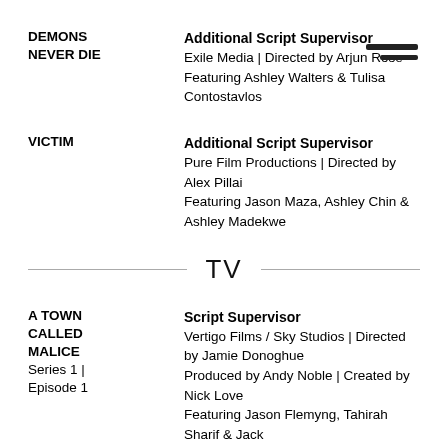DEMONS NEVER DIE | Additional Script Supervisor | Exile Media | Directed by Arjun Rose | Featuring Ashley Walters & Tulisa Contostavlos
VICTIM | Additional Script Supervisor | Pure Film Productions | Directed by Alex Pillai | Featuring Jason Maza, Ashley Chin & Ashley Madekwe
TV
A TOWN CALLED MALICE | Series 1 | Episode 1 | Script Supervisor | Vertigo Films / Sky Studios | Directed by Jamie Donoghue | Produced by Andy Noble | Created by Nick Love | Featuring Jason Flemyng, Tahirah Sharif & Jack